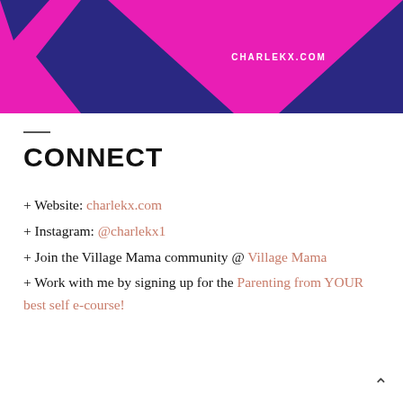[Figure (illustration): Decorative banner with dark navy blue background and bright magenta/pink geometric arrow-like chevron shapes. White text 'CHARLEKX.COM' in center-right area.]
CONNECT
+ Website: charlekx.com
+ Instagram: @charlekx1
+ Join the Village Mama community @ Village Mama
+ Work with me by signing up for the Parenting from YOUR best self e-course!